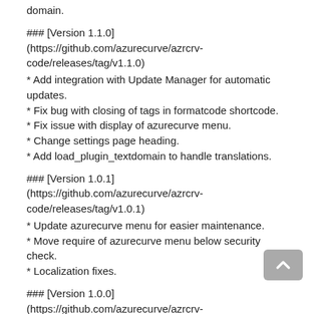domain.
### [Version 1.1.0](https://github.com/azurecurve/azrcrv-code/releases/tag/v1.1.0)
* Add integration with Update Manager for automatic updates.
* Fix bug with closing of tags in formatcode shortcode.
* Fix issue with display of azurecurve menu.
* Change settings page heading.
* Add load_plugin_textdomain to handle translations.
### [Version 1.0.1](https://github.com/azurecurve/azrcrv-code/releases/tag/v1.0.1)
* Update azurecurve menu for easier maintenance.
* Move require of azurecurve menu below security check.
* Localization fixes.
### [Version 1.0.0](https://github.com/azurecurve/azrcrv-code/releases/tag/v1.0.0)
* Initial release.
# About azurecurve
**azurecurve** was one of the first plugin developers to start developing for ClassicPress; all plugins are available from [azurecurve Development]